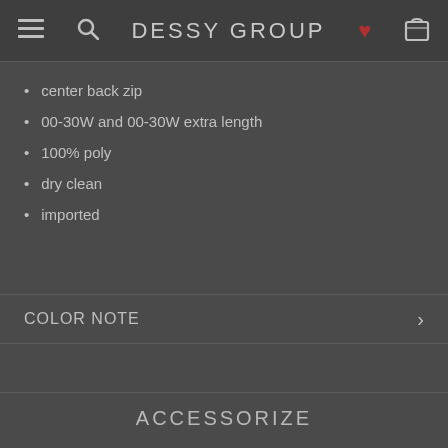DESSY GROUP
center back zip
00-30W and 00-30W extra length
100% poly
dry clean
imported
COLOR NOTE
ACCESSORIZE
[Figure (illustration): Row of 10 small decorative bow/accessory icons in various colors: dusty rose, slate blue, gray, olive/green, dark red, burgundy, dark teal/navy (outlined), teal, light gray, dark gray/charcoal]